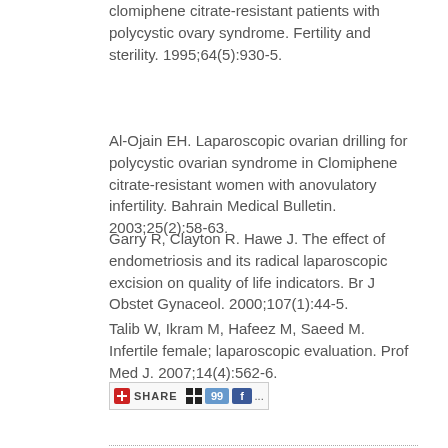clomiphene citrate-resistant patients with polycystic ovary syndrome. Fertility and sterility. 1995;64(5):930-5.
Al-Ojain EH. Laparoscopic ovarian drilling for polycystic ovarian syndrome in Clomiphene citrate-resistant women with anovulatory infertility. Bahrain Medical Bulletin. 2003;25(2):58-63.
Garry R, Clayton R. Hawe J. The effect of endometriosis and its radical laparoscopic excision on quality of life indicators. Br J Obstet Gynaceol. 2000;107(1):44-5.
Talib W, Ikram M, Hafeez M, Saeed M. Infertile female; laparoscopic evaluation. Prof Med J. 2007;14(4):562-6.
[Figure (other): Share button widget with red plus icon, SHARE text, and social media icons]